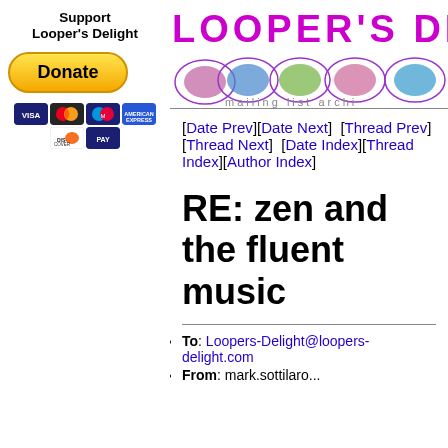Support Looper's Delight
[Figure (logo): PayPal Donate button with Visa, Mastercard, Maestro, Amex, Discover, and another card icon below]
[Figure (logo): Looper's Delight mailing list archive logo with colorful circles and text]
[Date Prev][Date Next]   [Thread Prev][Thread Next]   [Date Index][Thread Index][Author Index]
RE: zen and the fluent music
To: Loopers-Delight@loopers-delight.com
From: mark.sottilaro...